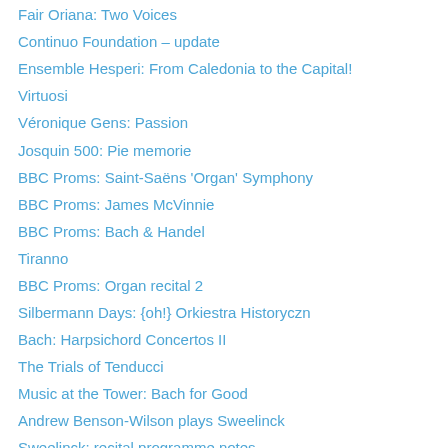Fair Oriana: Two Voices
Continuo Foundation – update
Ensemble Hesperi: From Caledonia to the Capital!
Virtuosi
Véronique Gens: Passion
Josquin 500: Pie memorie
BBC Proms: Saint-Saëns 'Organ' Symphony
BBC Proms: James McVinnie
BBC Proms: Bach & Handel
Tiranno
BBC Proms: Organ recital 2
Silbermann Days: {oh!} Orkiestra Historyczn
Bach: Harpsichord Concertos II
The Trials of Tenducci
Music at the Tower: Bach for Good
Andrew Benson-Wilson plays Sweelinck
Sweelinck: recital programme notes
Bach: Well-tempered Consort- II
BBC Proms: Josquin
BBC Proms: Organ Recital 1